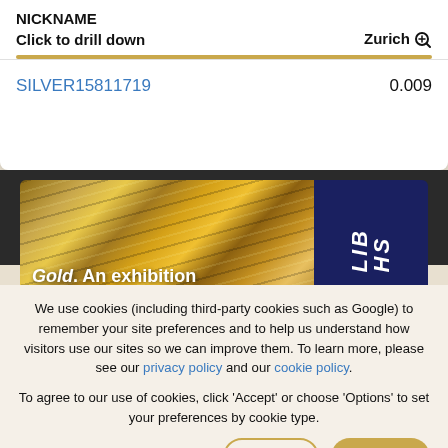| NICKNAME |  |
| --- | --- |
| Click to drill down | Zurich 🔍 |
| SILVER15811719 | 0.009 |
[Figure (photo): Gold exhibition banner image with text 'Gold. An exhibition proudly supported by' over a gold textured background, with a dark blue panel on the right showing 'LIB HS' text]
We use cookies (including third-party cookies such as Google) to remember your site preferences and to help us understand how visitors use our sites so we can improve them. To learn more, please see our privacy policy and our cookie policy. To agree to our use of cookies, click 'Accept' or choose 'Options' to set your preferences by cookie type.